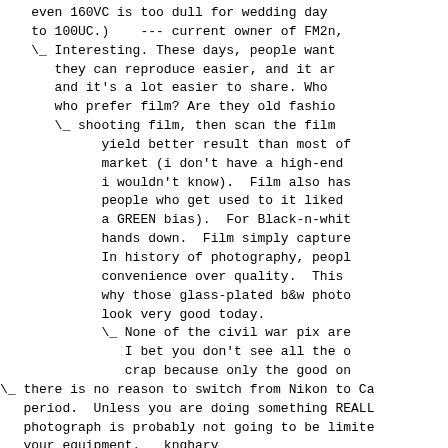even 160VC is too dull for wedding day to 100UC.)    --- current owner of FM2n, \_ Interesting. These days, people want they can reproduce easier, and it ar and it's a lot easier to share. Who  who prefer film? Are they old fashio \_ shooting film, then scan the film yield better result than most of market (i don't have a high-end  i wouldn't know).  Film also has people who get used to it liked a GREEN bias).  For Black-n-whit hands down.  Film simply capture In history of photography, peopl convenience over quality.  This  why those glass-plated b&w photo look very good today. \_ None of the civil war pix are I bet you don't see all the o crap because only the good on \_ there is no reason to switch from Nikon to Ca period.  Unless you are doing something REALL photograph is probably not going to be limite your equipment.   kngharv \_ I can tell you why. Canon lenses cost a lo have waaay more selections. A 28-70mm f/2. $1600 new and $1500 used whereas the exact only $1100 (NEW) on Canon. That's enough m a decent backup 1.6 body. When you build y high quality lenses will dominate the body